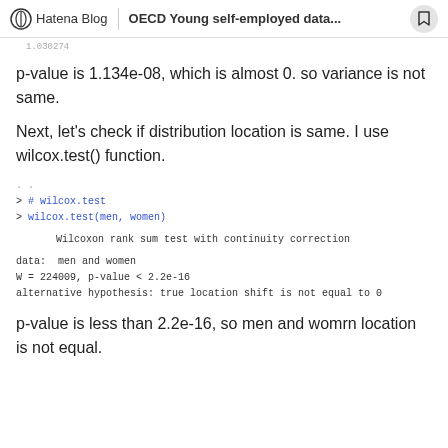Hatena Blog | OECD Young self-employed data...
1.030274
p-value is 1.134e-08, which is almost 0. so variance is not same.
Next, let's check if distribution location is same. I use wilcox.test() function.
> # wilcox.test
> wilcox.test(men, women)

        Wilcoxon rank sum test with continuity correction

data:  men and women
W = 224009, p-value < 2.2e-16
alternative hypothesis: true location shift is not equal to 0
p-value is less than 2.2e-16, so men and womrn location is not equal.